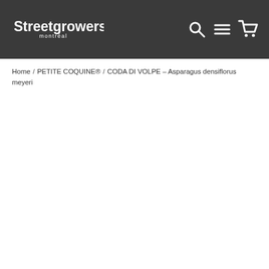[Figure (logo): Streetgrowers montréal logo in white on dark grey background header]
Home / PETITE COQUINE® / CODA DI VOLPE - Asparagus densiflorus meyeri